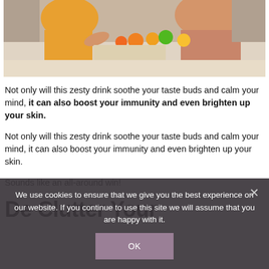[Figure (photo): Photo of people preparing food in a kitchen with fruits and vegetables on a counter]
Not only will this zesty drink soothe your taste buds and calm your mind, it can also boost your immunity and even brighten up your skin.
Not only will this zesty drink soothe your taste buds and calm your mind, it can also boost your immunity and even brighten up your skin.
Sounds like an all-around win!
De Clutter Your
We use cookies to ensure that we give you the best experience on our website. If you continue to use this site we will assume that you are happy with it.